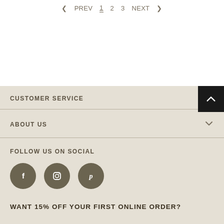< PREV  1  2  3  NEXT >
CUSTOMER SERVICE
ABOUT US
FOLLOW US ON SOCIAL
[Figure (illustration): Three social media icon circles: Facebook (f), Instagram (camera), Pinterest (p)]
WANT 15% OFF YOUR FIRST ONLINE ORDER?